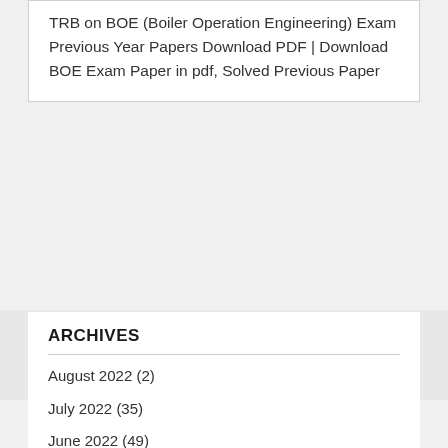TRB on BOE (Boiler Operation Engineering) Exam Previous Year Papers Download PDF | Download BOE Exam Paper in pdf, Solved Previous Paper
ARCHIVES
August 2022 (2)
July 2022 (35)
June 2022 (49)